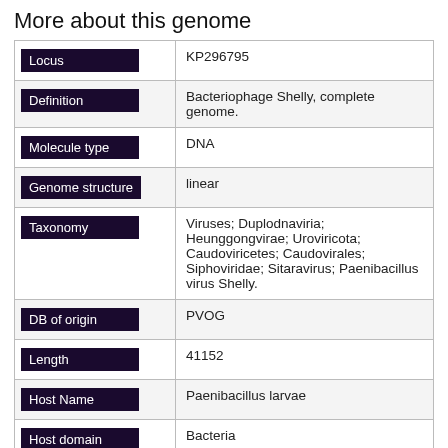More about this genome
| Field | Value |
| --- | --- |
| Locus | KP296795 |
| Definition | Bacteriophage Shelly, complete genome. |
| Molecule type | DNA |
| Genome structure | linear |
| Taxonomy | Viruses; Duplodnaviria; Heunggongvirae; Uroviricota; Caudoviricetes; Caudovirales; Siphoviridae; Sitaravirus; Paenibacillus virus Shelly. |
| DB of origin | PVOG |
| Length | 41152 |
| Host Name | Paenibacillus larvae |
| Host domain | Bacteria |